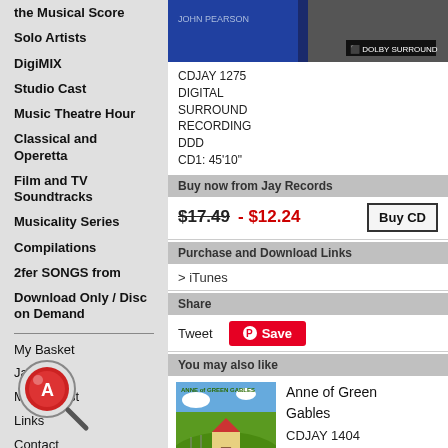the Musical Score
Solo Artists
DigiMIX
Studio Cast
Music Theatre Hour
Classical and Operetta
Film and TV Soundtracks
Musicality Series
Compilations
2fer SONGS from
Download Only / Disc on Demand
My Basket
Jay Shop
Mailing List
Links
Contact
[Figure (photo): Album cover with blue background, text JOHN PEARSON, Dolby Surround logo]
CDJAY 1275
DIGITAL SURROUND RECORDING
DDD
CD1: 45'10"
Buy now from Jay Records
$17.49 - $12.24
Purchase and Download Links
> iTunes
Share
Tweet
You may also like
[Figure (photo): Anne of Green Gables album cover with green countryside illustration]
Anne of Green Gables
CDJAY 1404
$17.49